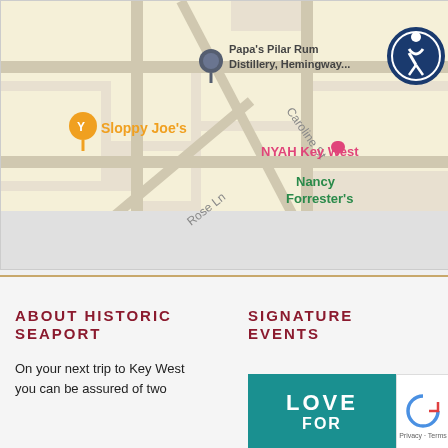[Figure (map): Google Maps screenshot showing streets around Key West with pins: Papa's Pilar Rum Distillery/Hemingway (blue pin), Sloppy Joe's (orange bar/martini pin), NYAH Key West (pink hotel pin), Nancy Forrester's (green label). Accessibility icon in top-right corner. Streets include Caroline St, Rose Ln.]
ABOUT HISTORIC SEAPORT
SIGNATURE EVENTS
On your next trip to Key West you can be assured of two
[Figure (infographic): Teal/dark green box with text LOVE for]